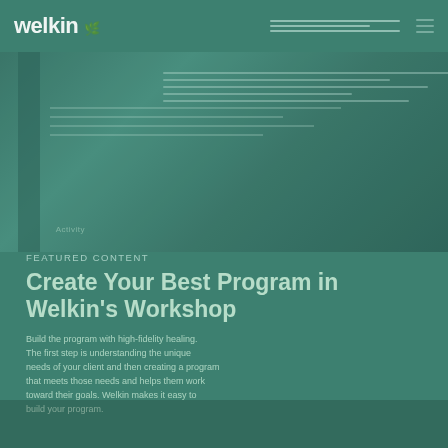welkin
[Figure (photo): Background image showing a decorative green-toned webpage screenshot or interface render with navigation elements and image placeholder area on a teal/green background]
FEATURED CONTENT
Create Your Best Program in Welkin's Workshop
Build the program with high-fidelity healing. The first step is understanding the unique needs of your client and then creating a program that meets those needs and helps them work toward their goals.